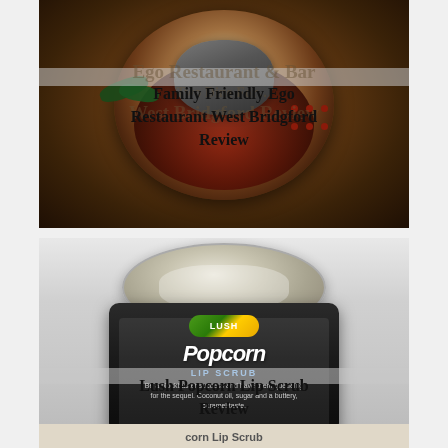[Figure (photo): Photo of a restaurant dish in a white bowl containing a dark-sauced meat with green garnish and red/dark berry-like pieces, overlaid with semi-transparent text about Ego Restaurant & Bar review.]
Family Friendly Ego Restaurant West Bridgford Review
[Figure (photo): Photo of a Lush Popcorn Lip Scrub jar in black with yellow-green lid, showing the product label with 'POPCORN LIP SCRUB' and description text. Overlaid with semi-transparent text for the review title.]
Lush Popcorn Lip Scrub Review